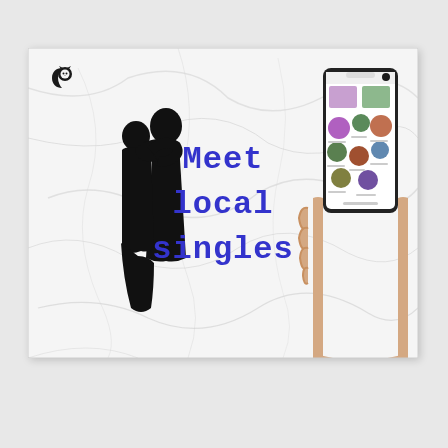[Figure (illustration): Dating app promotional banner with marble background. On the left, a black silhouette of a couple embracing/kissing. In the center, blue text reading 'Meet local singles' in a typewriter-style font. On the right, a hand holding a smartphone displaying a dating app with circular profile photos. A small logo (crescent moon with face) appears in the top-left corner of the banner.]